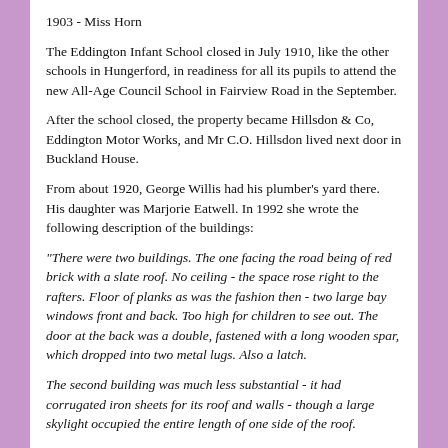1903 - Miss Horn
The Eddington Infant School closed in July 1910, like the other schools in Hungerford, in readiness for all its pupils to attend the new All-Age Council School in Fairview Road in the September.
After the school closed, the property became Hillsdon & Co, Eddington Motor Works, and Mr C.O. Hillsdon lived next door in Buckland House.
From about 1920, George Willis had his plumber's yard there. His daughter was Marjorie Eatwell. In 1992 she wrote the following description of the buildings:
"There were two buildings. The one facing the road being of red brick with a slate roof. No ceiling - the space rose right to the rafters. Floor of planks as was the fashion then - two large bay windows front and back. Too high for children to see out. The door at the back was a double, fastened with a long wooden spar, which dropped into two metal lugs. Also a latch.
The second building was much less substantial - it had corrugated iron sheets for its roof and walls - though a large skylight occupied the entire length of one side of the roof.
The door leading out on to a considerable length of garden space was similar to that in the front building.